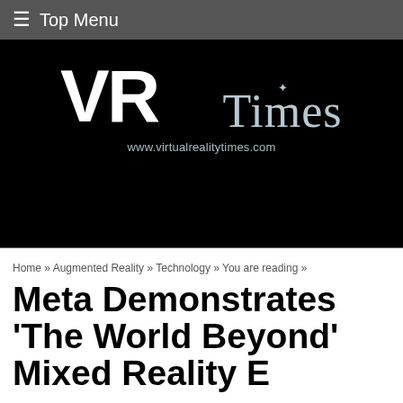≡ Top Menu
[Figure (logo): VR Times logo on black background with website URL www.virtualrealitytimes.com]
Home » Augmented Reality » Technology » You are reading »
Meta Demonstrates 'The World Beyond' Mixed Reality E...